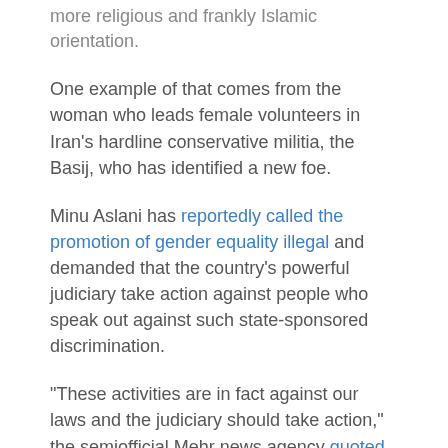more religious and frankly Islamic orientation.
One example of that comes from the woman who leads female volunteers in Iran's hardline conservative militia, the Basij, who has identified a new foe.
Minu Aslani has reportedly called the promotion of gender equality illegal and demanded that the country's powerful judiciary take action against people who speak out against such state-sponsored discrimination.
“These activities are in fact against our laws and the judiciary should take action,” the semiofficial Mehr news agency quoted Aslani as telling reporters on December 2.